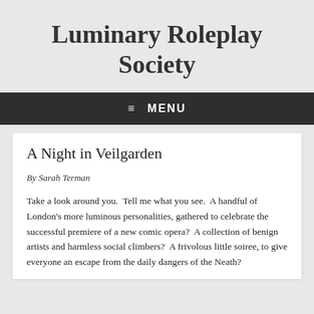Luminary Roleplay Society
≡ MENU
A Night in Veilgarden
By Sarah Terman
Take a look around you.  Tell me what you see.  A handful of London's more luminous personalities, gathered to celebrate the successful premiere of a new comic opera?  A collection of benign artists and harmless social climbers?  A frivolous little soiree, to give everyone an escape from the daily dangers of the Neath?